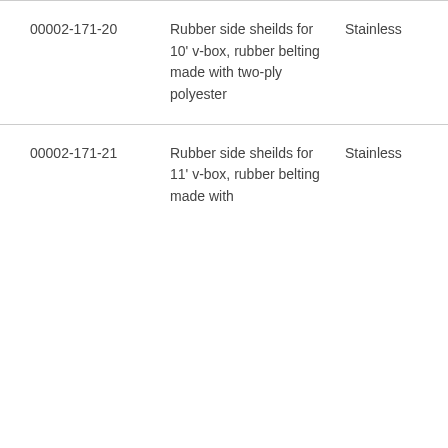| 00002-171-20 | Rubber side sheilds for 10' v-box, rubber belting made with two-ply polyester | Stainless | 110 lb |
| 00002-171-21 | Rubber side sheilds for 11' v-box, rubber belting made with | Stainless | 121 lb |